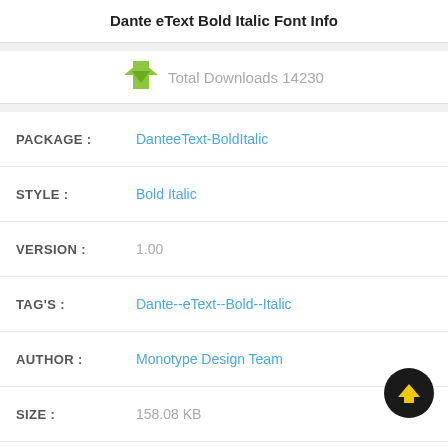Dante eText Bold Italic Font Info
Total Downloads 14230
| Field | Value |
| --- | --- |
| PACKAGE : | DanteeText-BoldItalic |
| STYLE : | Bold Italic |
| VERSION : | 1.00 |
| TAG'S : | Dante--eText--Bold--Italic |
| AUTHOR : | Monotype Design Team |
| SIZE : | 158.08 KB |
| COMPANY : | Monotype Imaging Inc. |